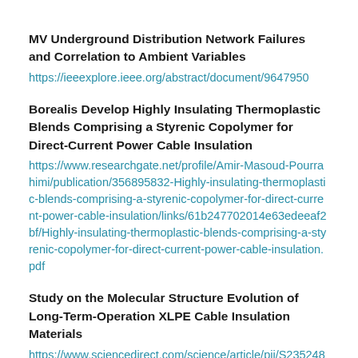MV Underground Distribution Network Failures and Correlation to Ambient Variables
https://ieeexplore.ieee.org/abstract/document/9647950
Borealis Develop Highly Insulating Thermoplastic Blends Comprising a Styrenic Copolymer for Direct-Current Power Cable Insulation
https://www.researchgate.net/profile/Amir-Masoud-Pourrahimi/publication/356895832-Highly-insulating-thermoplastic-blends-comprising-a-styrenic-copolymer-for-direct-current-power-cable-insulation/links/61b247702014e63edeeaf2bf/Highly-insulating-thermoplastic-blends-comprising-a-styrenic-copolymer-for-direct-current-power-cable-insulation.pdf
Study on the Molecular Structure Evolution of Long-Term-Operation XLPE Cable Insulation Materials
https://www.sciencedirect.com/science/article/pii/S2352484721013573